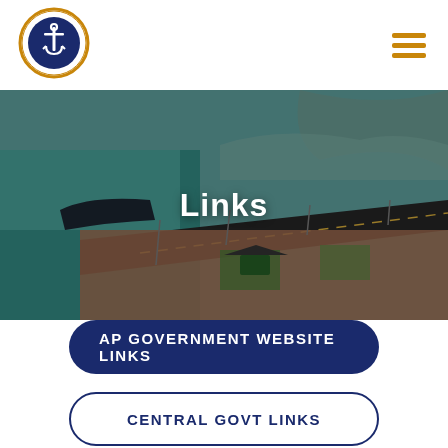[Figure (logo): Circular logo with anchor and gear/wheel design, text around the border, blue and gold colors]
[Figure (photo): Aerial coastal city view showing a beach road, ocean on the left, buildings and structures on the right, green-blue water, with white text 'Links' overlaid in center]
AP GOVERNMENT WEBSITE LINKS
CENTRAL GOVT LINKS